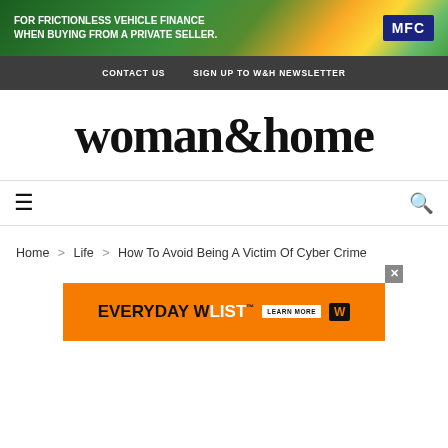[Figure (infographic): MFC vehicle finance advertisement banner — green/yellow geometric background with text 'FOR FRICTIONLESS VEHICLE FINANCE WHEN BUYING FROM A PRIVATE SELLER.' and MFC logo]
CONTACT US   SIGN UP TO W&H NEWSLETTER
woman&home
[Figure (infographic): Hamburger menu icon (three horizontal lines) on left and search magnifying glass icon on right]
Home > Life > How To Avoid Being A Victim Of Cyber Crime
[Figure (infographic): Orange advertisement banner for EVERYDAY WLIST with LEARN MORE button and W logo icon]